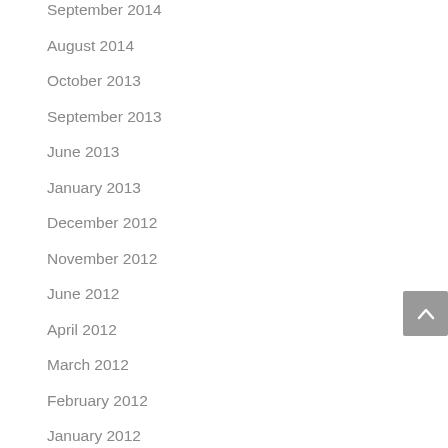September 2014
August 2014
October 2013
September 2013
June 2013
January 2013
December 2012
November 2012
June 2012
April 2012
March 2012
February 2012
January 2012
December 2011